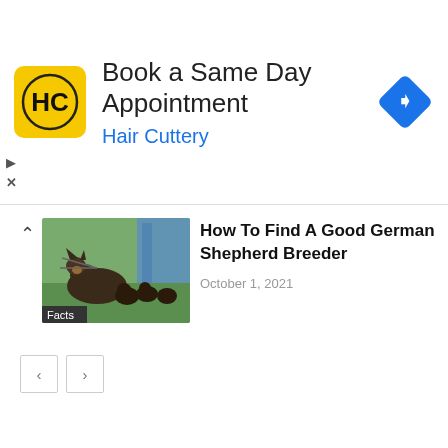[Figure (screenshot): Hair Cuttery advertisement banner with yellow HC logo, text 'Book a Same Day Appointment' and 'Hair Cuttery', and a blue navigation arrow icon on the right]
How To Find A Good German Shepherd Breeder
October 1, 2021
[Figure (photo): Photo of German Shepherd dogs (puppies and adult) sitting in grass with a blue structure in background. Tag reads 'Facts']